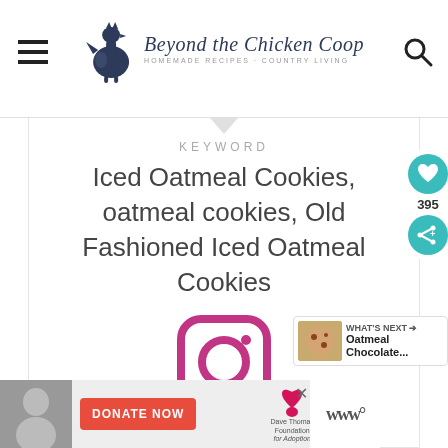Beyond the Chicken Coop — HOMEMADE RECIPES · COUNTRY LIVING
KEYWORD
Iced Oatmeal Cookies, oatmeal cookies, Old Fashioned Iced Oatmeal Cookies
[Figure (logo): Instagram logo icon — rounded square with purple/magenta gradient border and circle]
Tried this Recipe? Tag
[Figure (infographic): Side buttons: heart icon with teal background (395 saves) and share icon with teal background]
[Figure (infographic): What's Next widget showing oatmeal chocolate cookies thumbnail]
[Figure (infographic): Donate Now ad banner with Dave Thomas Foundation for Adoption logo]